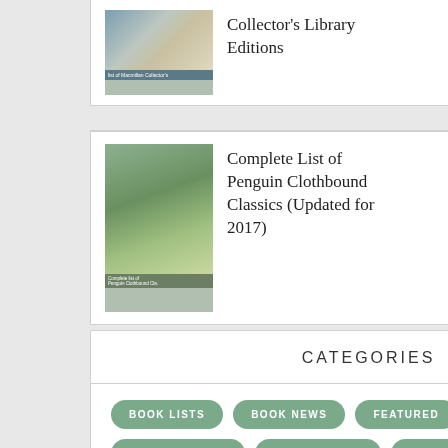[Figure (photo): Thumbnail image for Collector's Library Editions article]
Collector's Library Editions
[Figure (photo): Thumbnail image showing hands with plants for Penguin Clothbound Classics article]
Complete List of Penguin Clothbound Classics (Updated for 2017)
CATEGORIES
BOOK LISTS
BOOK NEWS
FEATURED
FREE BOOKS
NEW RELEASES
PAPER GOODS
QUOTES